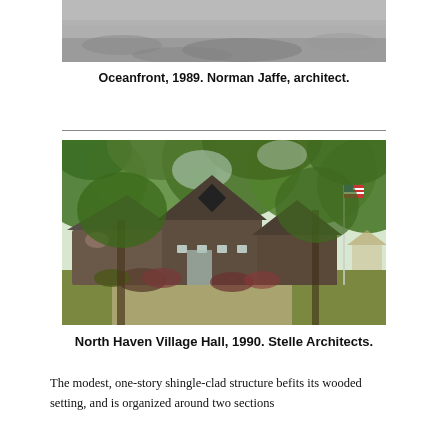[Figure (photo): Black and white aerial or close-up photo of an oceanfront scene, partially visible at top of page]
Oceanfront, 1989. Norman Jaffe, architect.
[Figure (photo): Color photograph of North Haven Village Hall, a modest one-story shingle-clad building surrounded by green trees, with an American flag pole on the right side]
North Haven Village Hall, 1990. Stelle Architects.
The modest, one-story shingle-clad structure befits its wooded setting, and is organized around two sections